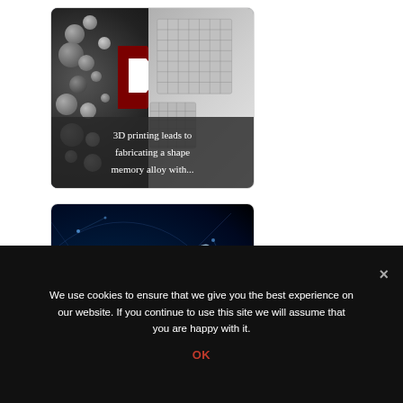[Figure (photo): Card showing two-part image: left side shows microscopic powder/bubble particles on dark background, center has a dark red arrow shape with white arrow inside pointing right, right side shows metallic ball-bearing cube structures. Caption overlay reads '3D printing leads to fabricating a shape memory alloy with...']
3D printing leads to fabricating a shape memory alloy with...
[Figure (photo): Card showing a glowing blue digital/tech themed image with a hand and smartphone on a radar/network background]
We use cookies to ensure that we give you the best experience on our website. If you continue to use this site we will assume that you are happy with it.
OK